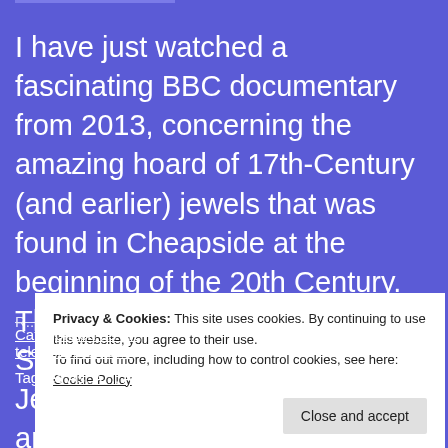I have just watched a fascinating BBC documentary from 2013, concerning the amazing hoard of 17th-Century (and earlier) jewels that was found in Cheapside at the beginning of the 20th Century. The documentary is called Secret Knowledge: The Hidden Jewels of the Cheapside Hoard, and was presented by modern jeweller, Shaun L...
Privacy & Cookies: This site uses cookies. By continuing to use this website, you agree to their use.
To find out more, including how to control cookies, see here: Cookie Policy
Close and accept
Categorized as art, television reviews
Tagged As: ...